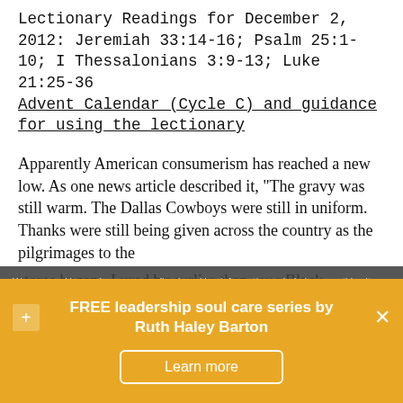Lectionary Readings for December 2, 2012: Jeremiah 33:14-16; Psalm 25:1-10; I Thessalonians 3:9-13; Luke 21:25-36 Advent Calendar (Cycle C) and guidance for using the lectionary
Apparently American consumerism has reached a new low. As one news article described it, "The gravy was still warm. The Dallas Cowboys were still in uniform.  Thanks were still being given across the country as the pilgrimages to the stores began.  Lured by earlier-than-ever Black
We use cookies and non-personalized tracking information to help improve this site. However you can change those settings at any time. Find out more.
FREE leadership soul care series by Ruth Haley Barton
Learn more